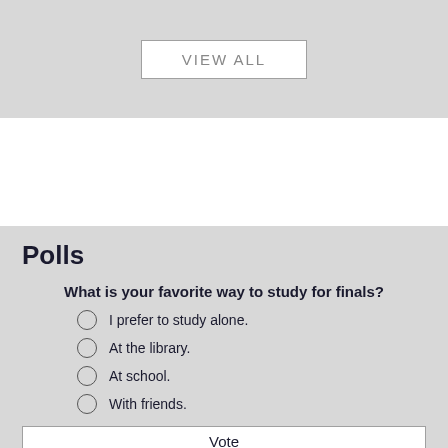[Figure (screenshot): Gray banner area with a 'VIEW ALL' button in the center]
Polls
What is your favorite way to study for finals?
I prefer to study alone.
At the library.
At school.
With friends.
Vote
View Results
Polls Archive